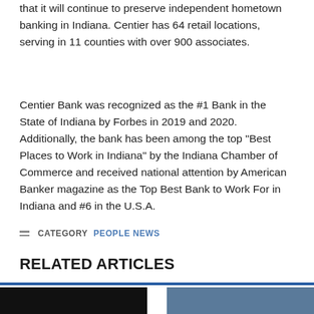that it will continue to preserve independent hometown banking in Indiana. Centier has 64 retail locations, serving in 11 counties with over 900 associates.
Centier Bank was recognized as the #1 Bank in the State of Indiana by Forbes in 2019 and 2020. Additionally, the bank has been among the top “Best Places to Work in Indiana” by the Indiana Chamber of Commerce and received national attention by American Banker magazine as the Top Best Bank to Work For in Indiana and #6 in the U.S.A.
CATEGORY  PEOPLE NEWS
RELATED ARTICLES